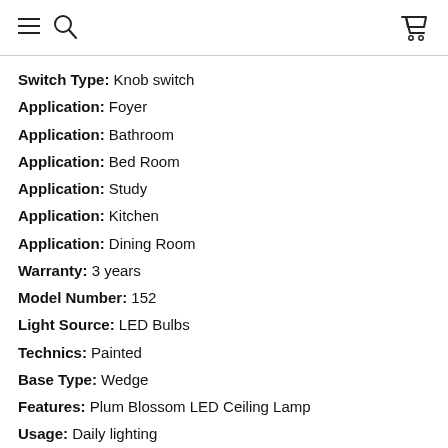[navigation header with menu, search, and cart icons]
Switch Type: Knob switch
Application: Foyer
Application: Bathroom
Application: Bed Room
Application: Study
Application: Kitchen
Application: Dining Room
Warranty: 3 years
Model Number: 152
Light Source: LED Bulbs
Technics: Painted
Base Type: Wedge
Features: Plum Blossom LED Ceiling Lamp
Usage: Daily lighting
Number of light sources: 1
Is Bulbs Included: Yes
Material: Aluminum